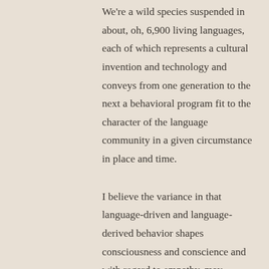We're a wild species suspended in about, oh, 6,900 living languages, each of which represents a cultural invention and technology and conveys from one generation to the next a behavioral program fit to the character of the language community in a given circumstance in place and time.
I believe the variance in that language-driven and language-derived behavior shapes consciousness and conscience and with regard to empathy, may emphasize the cultivation of that ability to meld emotion and imagination on behalf of someone else, or it may harden the heart against the same.
Other qualities may obtain similar support and the character of a language and the